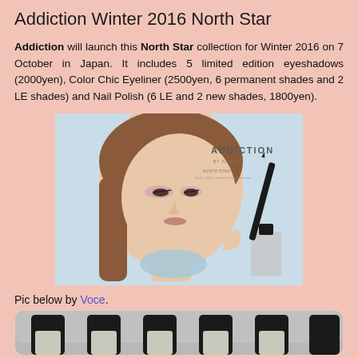Addiction Winter 2016 North Star
Addiction will launch this North Star collection for Winter 2016 on 7 October in Japan. It includes 5 limited edition eyeshadows (2000yen), Color Chic Eyeliner (2500yen, 6 permanent shades and 2 LE shades) and Nail Polish (6 LE and 2 new shades, 1800yen).
[Figure (photo): Addiction North Star Winter 2016 campaign image showing a model with pink eye makeup and a nail polish bottle with eyeliner pencil on a light blue background with ADDICTION branding]
Pic below by Voce.
[Figure (photo): Bottom portion of an image showing nail polish bottles lined up, cropped at the bottom edge of the page]